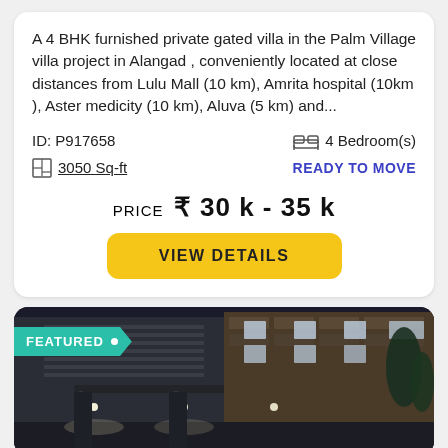A 4 BHK furnished private gated villa in the Palm Village villa project in Alangad , conveniently located at close distances from Lulu Mall (10 km), Amrita hospital (10km ), Aster medicity (10 km), Aluva (5 km) and...
ID: P917658
4 Bedroom(s)
3050 Sq-ft
READY TO MOVE
PRICE  ₹ 30 k - 35 k
VIEW DETAILS
[Figure (photo): Night-time photo of a modern multi-storey building/villa exterior with lighting, dark facade, and trees, with a FEATURED badge overlay]